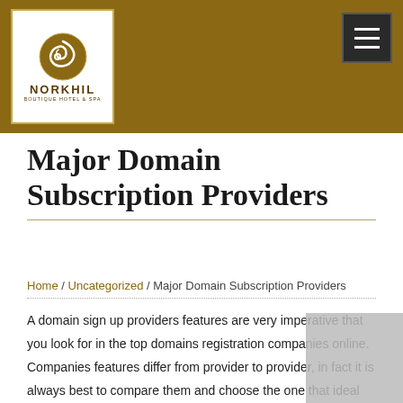[Figure (logo): Norkhil Boutique Hotel & Spa logo — white box with decorative swirl and text on golden-brown header background]
Norkhil Boutique Hotel & Spa — navigation header with hamburger menu button
Major Domain Subscription Providers
Home / Uncategorized / Major Domain Subscription Providers
A domain sign up providers features are very imperative that you look for in the top domains registration companies online. Companies features differ from provider to provider, in fact it is always best to compare them and choose the one that ideal you. The best providers provide many different features to their buyers including url registration, email, and web hosting features. This article will talk about some of the most essential features that https://yourdataroom.org/due-diligence/ you have to check the moment selecting a best domain registration providers.

Services that are popular include Bing, which recently acquired an internet hosting